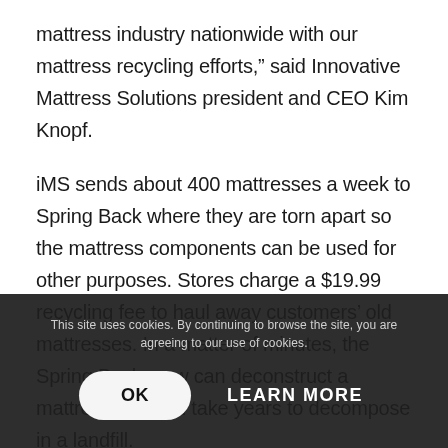mattress industry nationwide with our mattress recycling efforts,” said Innovative Mattress Solutions president and CEO Kim Knopf.
iMS sends about 400 mattresses a week to Spring Back where they are torn apart so the mattress components can be used for other purposes. Stores charge a $19.99 recycling fee to haul away customers’ old mattresses. In a matter of minutes, the Spring Back crew can deconstruct a mattress that can take years to decompose in a landfill.
“We’re trying to do our part to be an eco-
This site uses cookies. By continuing to browse the site, you are agreeing to our use of cookies.